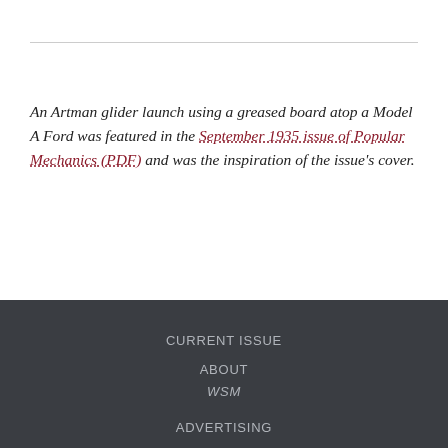An Artman glider launch using a greased board atop a Model A Ford was featured in the September 1935 issue of Popular Mechanics (PDF) and was the inspiration of the issue's cover.
Clubs / Organizations, History of University Glider, Pilots
CURRENT ISSUE | ABOUT WSM | ADVERTISING